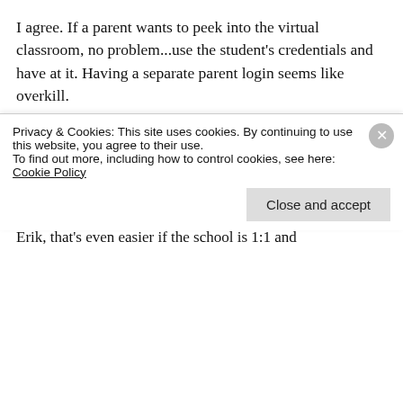I agree. If a parent wants to peek into the virtual classroom, no problem...use the student's credentials and have at it. Having a separate parent login seems like overkill.
★ Liked by 1 person
✏ tommullaney
December 18, 2015 at 6:39 PM
Erik, that's even easier if the school is 1:1 and
Privacy & Cookies: This site uses cookies. By continuing to use this website, you agree to their use.
To find out more, including how to control cookies, see here: Cookie Policy